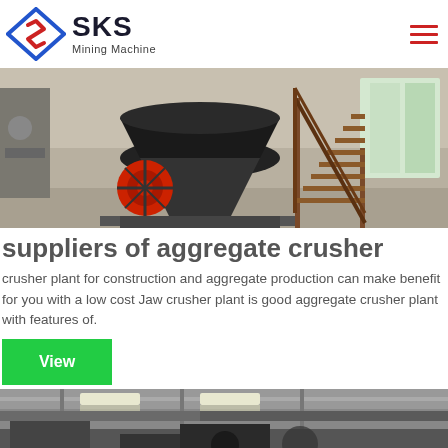[Figure (logo): SKS Mining Machine logo with diamond/arrow SVG icon and company name]
[Figure (photo): Industrial mining/crushing equipment inside a factory building, featuring a large cone crusher with red flywheel and metal staircase]
suppliers of aggregate crusher
crusher plant for construction and aggregate production can make benefit for you with a low cost Jaw crusher plant is good aggregate crusher plant with features of.
[Figure (other): Green 'View' button]
[Figure (photo): Inside of an industrial warehouse/factory with ceiling lights and industrial equipment]